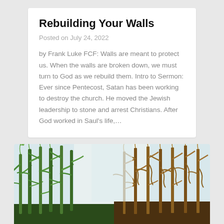Rebuilding Your Walls
Posted on July 24, 2022
by Frank Luke FCF: Walls are meant to protect us. When the walls are broken down, we must turn to God as we rebuild them. Intro to Sermon: Ever since Pentecost, Satan has been working to destroy the church. He moved the Jewish leadership to stone and arrest Christians. After God worked in Saul's life,...
[Figure (photo): Photo of corn field showing green corn stalks on the left side and dry brown corn stalks on the right side with a pale sky in the background]